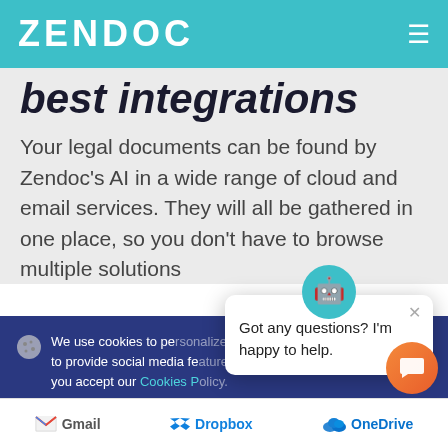ZENDOC
best integrations
Your legal documents can be found by Zendoc's AI in a wide range of cloud and email services. They will all be gathered in one place, so you don't have to browse multiple solutions
We use cookies to pe... to provide social media fe... you accept our Cookies P...
Got any questions? I'm happy to help.
✓ Accept
Gmail  Dropbox  OneDrive